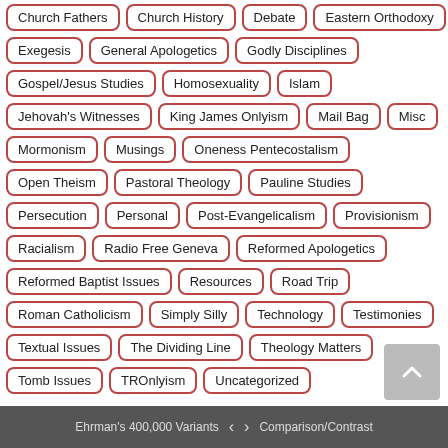Church Fathers
Church History
Debate
Eastern Orthodoxy
Exegesis
General Apologetics
Godly Disciplines
Gospel/Jesus Studies
Homosexuality
Islam
Jehovah's Witnesses
King James Onlyism
Mail Bag
Misc
Mormonism
Musings
Oneness Pentecostalism
Open Theism
Pastoral Theology
Pauline Studies
Persecution
Personal
Post-Evangelicalism
Provisionism
Racialism
Radio Free Geneva
Reformed Apologetics
Reformed Baptist Issues
Resources
Road Trip
Roman Catholicism
Simply Silly
Technology
Testimonies
Textual Issues
The Dividing Line
Theology Matters
Tomb Issues
TROnlyism
Uncategorized
Ehrman's 400,000 Variants  <  >  Comparison/Contrast